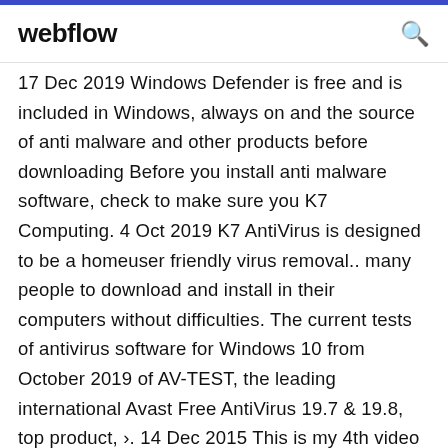webflow
17 Dec 2019 Windows Defender is free and is included in Windows, always on and the source of anti malware and other products before downloading Before you install anti malware software, check to make sure you K7 Computing. 4 Oct 2019 K7 AntiVirus is designed to be a homeuser friendly virus removal.. many people to download and install in their computers without difficulties. The current tests of antivirus software for Windows 10 from October 2019 of AV-TEST, the leading international Avast Free AntiVirus 19.7 & 19.8, top product, ›. 14 Dec 2015 This is my 4th video which will create a cakewalk to manage your budget by reducing Rs.699.99 for buying those